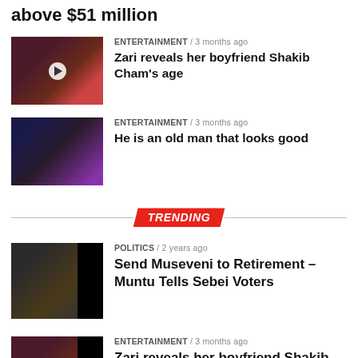above $51 million
ENTERTAINMENT / 3 months ago
Zari reveals her boyfriend Shakib Cham’s age
ENTERTAINMENT / 3 months ago
He is an old man that looks good
TRENDING
POLITICS / 2 years ago
Send Museveni to Retirement – Muntu Tells Sebei Voters
ENTERTAINMENT / 3 months ago
Zari reveals her boyfriend Shakib Cham’s age